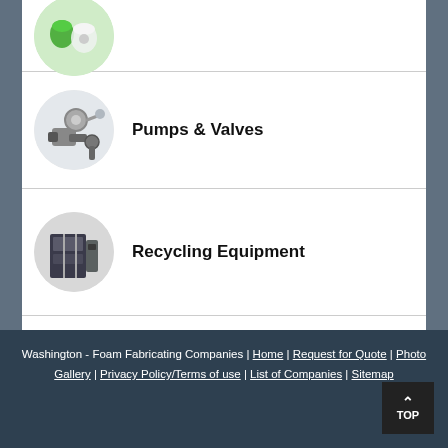[Figure (photo): Partial circular image of green plastic parts at top of list]
Pumps & Valves
Recycling Equipment
Rubber Products & Services
Washington - Foam Fabricating Companies | Home | Request for Quote | Photo Gallery | Privacy Policy/Terms of use | List of Companies | Sitemap